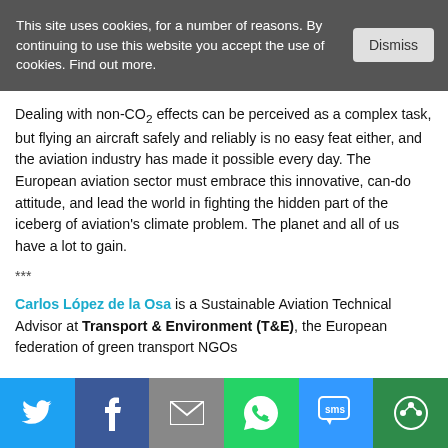This site uses cookies, for a number of reasons. By continuing to use this website you accept the use of cookies. Find out more.
Dealing with non-CO₂ effects can be perceived as a complex task, but flying an aircraft safely and reliably is no easy feat either, and the aviation industry has made it possible every day. The European aviation sector must embrace this innovative, can-do attitude, and lead the world in fighting the hidden part of the iceberg of aviation's climate problem. The planet and all of us have a lot to gain.
***
Carlos López de la Osa is a Sustainable Aviation Technical Advisor at Transport & Environment (T&E), the European federation of green transport NGOs
[Figure (infographic): Social sharing bar with 6 buttons: Twitter (blue), Facebook (dark blue), Email (gray), WhatsApp (green), SMS (light blue), Other (dark green)]